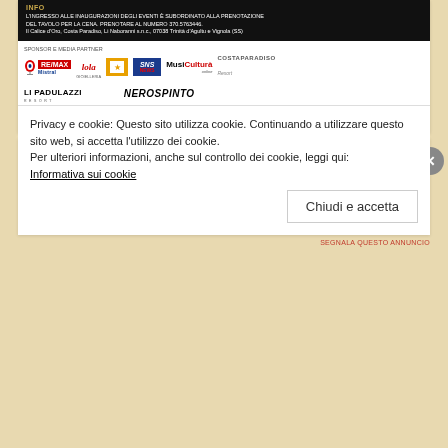[Figure (screenshot): Black banner with INFO label and event details text in Italian, followed by sponsor and media partner logos including RE/MAX Mistral, Lola, yellow box logo, SNS News, MusiCultura, Costa Paradiso, Li Padulazzi, Nerospinto]
MEDIA PARTNER
RICERCA
Privacy e cookie: Questo sito utilizza cookie. Continuando a utilizzare questo sito web, si accetta l'utilizzo dei cookie.
Per ulteriori informazioni, anche sul controllo dei cookie, leggi qui:
Informativa sui cookie
Chiudi e accetta
SEGNALA QUESTO ANNUNCIO